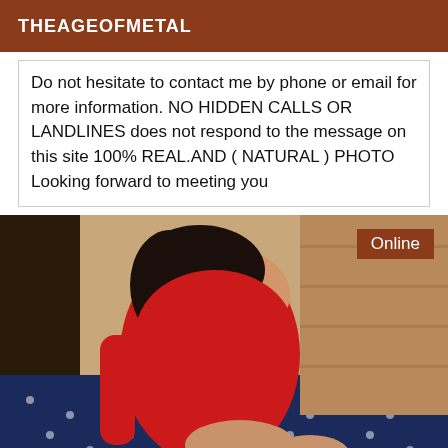THEAGEOFMETAL
Do not hesitate to contact me by phone or email for more information. NO HIDDEN CALLS OR LANDLINES does not respond to the message on this site 100% REAL.AND ( NATURAL ) PHOTO Looking forward to meeting you
[Figure (photo): Woman in a red dress posing indoors, with an 'Online' badge in the top right corner]